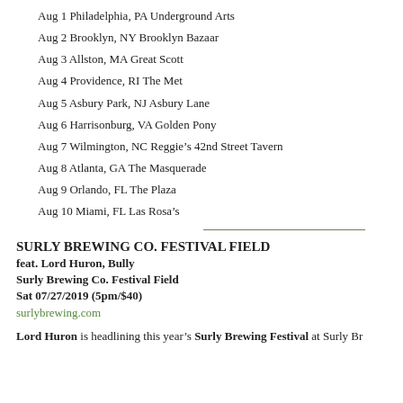Aug 1 Philadelphia, PA Underground Arts
Aug 2 Brooklyn, NY Brooklyn Bazaar
Aug 3 Allston, MA Great Scott
Aug 4 Providence, RI The Met
Aug 5 Asbury Park, NJ Asbury Lane
Aug 6 Harrisonburg, VA Golden Pony
Aug 7 Wilmington, NC Reggie's 42nd Street Tavern
Aug 8 Atlanta, GA The Masquerade
Aug 9 Orlando, FL The Plaza
Aug 10 Miami, FL Las Rosa's
SURLY BREWING CO. FESTIVAL FIELD
feat. Lord Huron, Bully
Surly Brewing Co. Festival Field
Sat 07/27/2019 (5pm/$40)
surlybrewing.com
Lord Huron is headlining this year's Surly Brewing Festival at Surly Br…